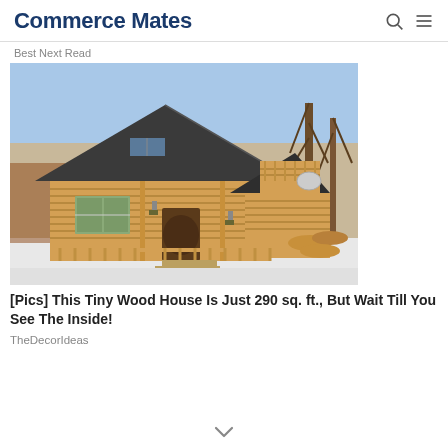Commerce Mates
Best Next Read
[Figure (photo): Photo of a small log cabin with a steep dark metal roof, wooden porch with railing, a small balcony, and lantern lights, surrounded by snow and bare winter trees.]
[Pics] This Tiny Wood House Is Just 290 sq. ft., But Wait Till You See The Inside!
TheDecorIdeas